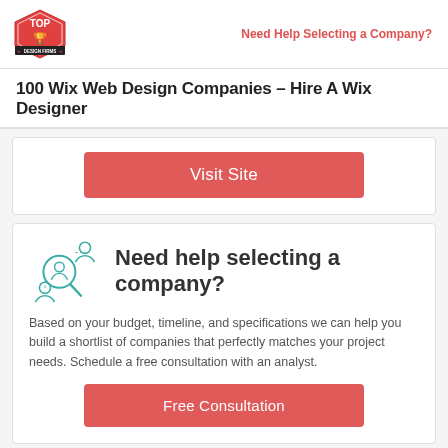Need Help Selecting a Company?
100 Wix Web Design Companies – Hire A Wix Designer
Visit Site
Need help selecting a company?
Based on your budget, timeline, and specifications we can help you build a shortlist of companies that perfectly matches your project needs. Schedule a free consultation with an analyst.
Free Consultation